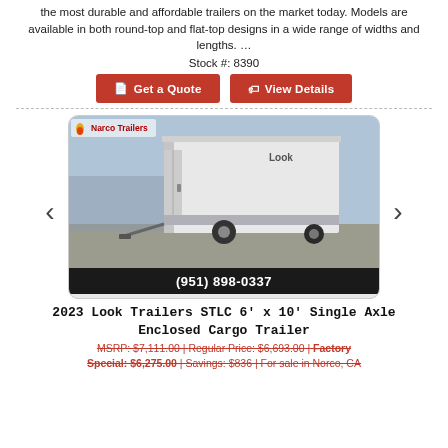the most durable and affordable trailers on the market today. Models are available in both round-top and flat-top designs in a wide range of widths and lengths. …
Stock #: 8390
[Figure (screenshot): Two red call-to-action buttons: 'Get a Quote' and 'View Details']
[Figure (photo): Photo of a white enclosed cargo trailer in a parking lot with phone number (951) 898-0337 shown at the bottom. Narco Trailers watermark in top left.]
2023 Look Trailers STLC 6' x 10' Single Axle Enclosed Cargo Trailer
MSRP: $7,111.00 | Regular Price: $6,693.00 | Factory Special: $6,275.00 | Savings: $836 | For sale in Norco, CA